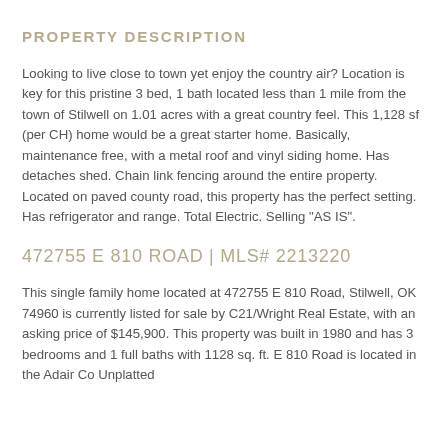PROPERTY DESCRIPTION
Looking to live close to town yet enjoy the country air? Location is key for this pristine 3 bed, 1 bath located less than 1 mile from the town of Stilwell on 1.01 acres with a great country feel. This 1,128 sf (per CH) home would be a great starter home. Basically, maintenance free, with a metal roof and vinyl siding home. Has detaches shed. Chain link fencing around the entire property. Located on paved county road, this property has the perfect setting. Has refrigerator and range. Total Electric. Selling "AS IS".
472755 E 810 ROAD | MLS# 2213220
This single family home located at 472755 E 810 Road, Stilwell, OK 74960 is currently listed for sale by C21/Wright Real Estate, with an asking price of $145,900. This property was built in 1980 and has 3 bedrooms and 1 full baths with 1128 sq. ft. E 810 Road is located in the Adair Co Unplatted